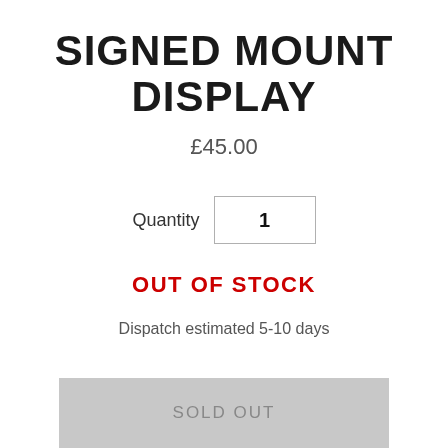SIGNED MOUNT DISPLAY
£45.00
Quantity 1
OUT OF STOCK
Dispatch estimated 5-10 days
SOLD OUT